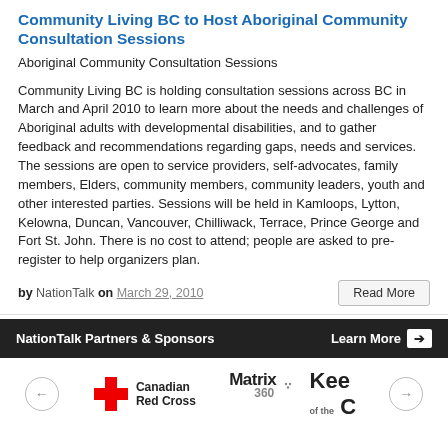Community Living BC to Host Aboriginal Community Consultation Sessions
Aboriginal Community Consultation Sessions
Community Living BC is holding consultation sessions across BC in March and April 2010 to learn more about the needs and challenges of Aboriginal adults with developmental disabilities, and to gather feedback and recommendations regarding gaps, needs and services. The sessions are open to service providers, self-advocates, family members, Elders, community members, community leaders, youth and other interested parties. Sessions will be held in Kamloops, Lytton, Kelowna, Duncan, Vancouver, Chilliwack, Terrace, Prince George and Fort St. John. There is no cost to attend; people are asked to pre-register to help organizers plan.
by NationTalk on March 29, 2010
NationTalk Partners & Sponsors
Learn More →
[Figure (logo): Canadian Red Cross logo with red cross icon and text 'Canadian Red Cross']
[Figure (logo): Matrix 360 logo with stylized text and dots]
[Figure (logo): Kee of the C logo, partially visible]